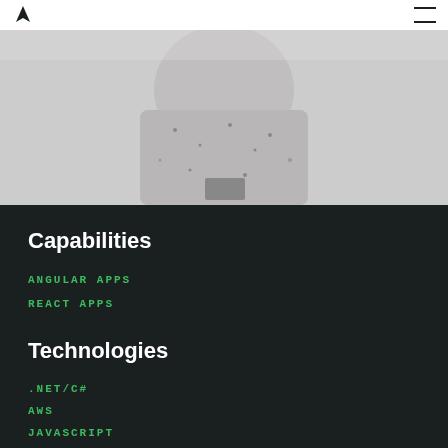Logo and navigation
[Figure (photo): Partial view of a person wearing a grey speckled sweatshirt, torso only, dark background below]
Capabilities
ANGULAR APPS
REACT APPS
Technologies
.NET/C#
AWS
JAVASCRIPT